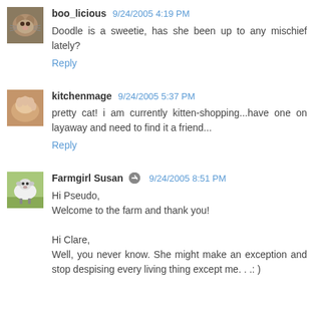[Figure (photo): Avatar thumbnail of a cat, brownish tabby]
boo_licious 9/24/2005 4:19 PM
Doodle is a sweetie, has she been up to any mischief lately?
Reply
[Figure (photo): Avatar thumbnail showing a hand holding bread dough]
kitchenmage 9/24/2005 5:37 PM
pretty cat! i am currently kitten-shopping...have one on layaway and need to find it a friend...
Reply
[Figure (photo): Avatar thumbnail of a painted sheep in a field]
Farmgirl Susan 9/24/2005 8:51 PM
Hi Pseudo,
Welcome to the farm and thank you!

Hi Clare,
Well, you never know. She might make an exception and stop despising every living thing except me. . .: )